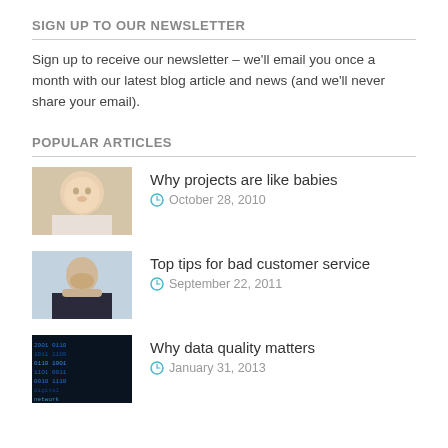SIGN UP TO OUR NEWSLETTER
Sign up to receive our newsletter – we'll email you once a month with our latest blog article and news (and we'll never share your email).
POPULAR ARTICLES
[Figure (photo): Thumbnail photo of a baby]
Why projects are like babies
October 28, 2010
[Figure (photo): Thumbnail photo of a man doing a facepalm]
Top tips for bad customer service
September 22, 2011
[Figure (photo): Thumbnail of digital data matrix text]
Why data quality matters
January 31, 2013